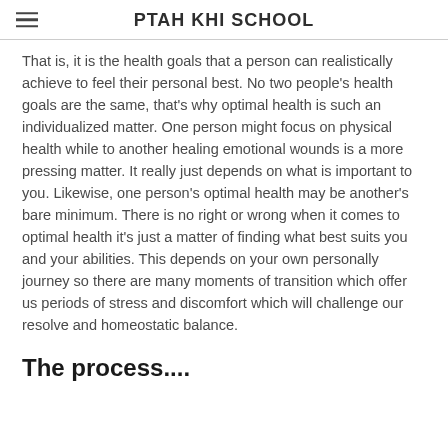PTAH KHI SCHOOL
That is, it is the health goals that a person can realistically achieve to feel their personal best. No two people's health goals are the same, that's why optimal health is such an individualized matter. One person might focus on physical health while to another healing emotional wounds is a more pressing matter. It really just depends on what is important to you. Likewise, one person's optimal health may be another's bare minimum. There is no right or wrong when it comes to optimal health it's just a matter of finding what best suits you and your abilities. This depends on your own personally journey so there are many moments of transition which offer us periods of stress and discomfort which will challenge our resolve and homeostatic balance.
The process....